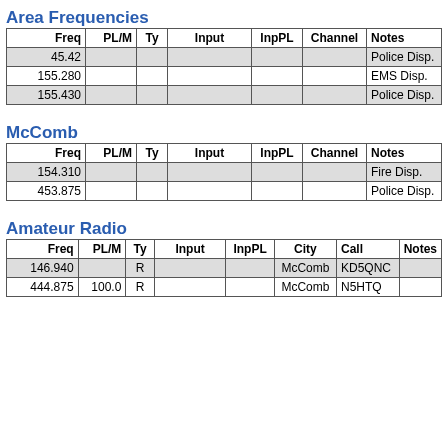Area Frequencies
| Freq | PL/M | Ty | Input | InpPL | Channel | Notes |
| --- | --- | --- | --- | --- | --- | --- |
| 45.42 |  |  |  |  |  | Police Disp. |
| 155.280 |  |  |  |  |  | EMS Disp. |
| 155.430 |  |  |  |  |  | Police Disp. |
McComb
| Freq | PL/M | Ty | Input | InpPL | Channel | Notes |
| --- | --- | --- | --- | --- | --- | --- |
| 154.310 |  |  |  |  |  | Fire Disp. |
| 453.875 |  |  |  |  |  | Police Disp. |
Amateur Radio
| Freq | PL/M | Ty | Input | InpPL | City | Call | Notes |
| --- | --- | --- | --- | --- | --- | --- | --- |
| 146.940 |  | R |  |  | McComb | KD5QNC |  |
| 444.875 | 100.0 | R |  |  | McComb | N5HTQ |  |